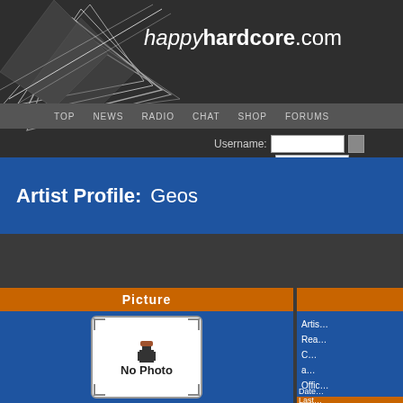happyhardcore.com
TOP | news | radio | chat | shop | forums
Username:
Artist Profile:  Geos
Picture
[Figure (photo): No Photo placeholder with pixel-art user icon]
Artist
Rea
C
a
Offic
Date
Last